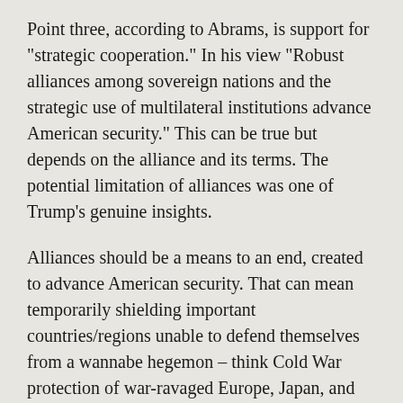Point three, according to Abrams, is support for "strategic cooperation." In his view "Robust alliances among sovereign nations and the strategic use of multilateral institutions advance American security." This can be true but depends on the alliance and its terms. The potential limitation of alliances was one of Trump’s genuine insights.
Alliances should be a means to an end, created to advance American security. That can mean temporarily shielding important countries/regions unable to defend themselves from a wannabe hegemon – think Cold War protection of war-ravaged Europe, Japan, and South Korea. In particular, the US did not want Eurasia dominated by any one power, especially an adversary of America.
However, this threat long ago vanished. Even Tom